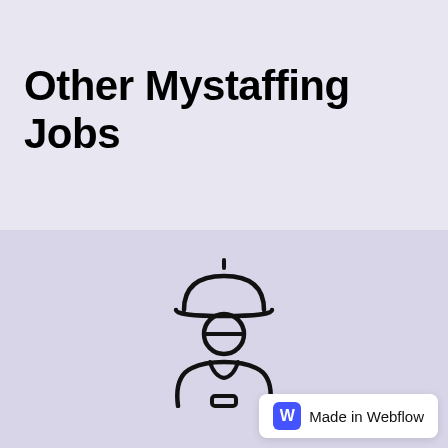Other Mystaffing Jobs
[Figure (illustration): Worker/construction worker icon: person wearing a hard hat, shown from the waist up, outline style in black on a light purple background]
Made in Webflow